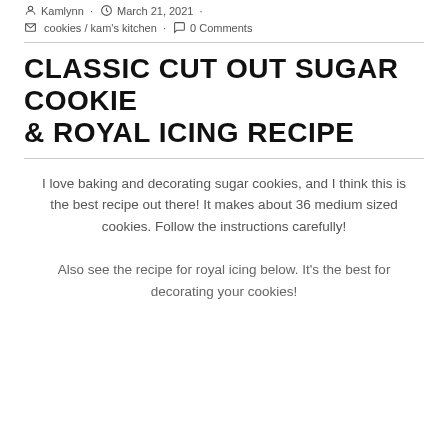Kamlynn · March 21, 2021 ·
cookies / kam's kitchen · 0 Comments
CLASSIC CUT OUT SUGAR COOKIE & ROYAL ICING RECIPE
I love baking and decorating sugar cookies, and I think this is the best recipe out there! It makes about 36 medium sized cookies. Follow the instructions carefully!
Also see the recipe for royal icing below. It's the best for decorating your cookies!